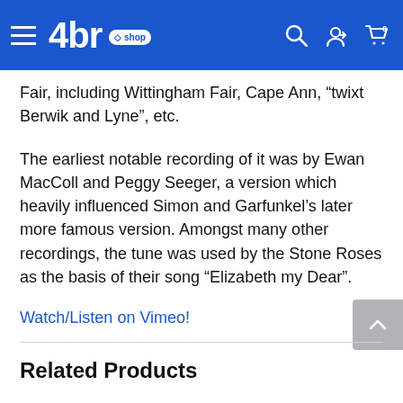4br shop
Fair, including Wittingham Fair, Cape Ann, “twixt Berwik and Lyne”, etc.
The earliest notable recording of it was by Ewan MacColl and Peggy Seeger, a version which heavily influenced Simon and Garfunkel’s later more famous version. Amongst many other recordings, the tune was used by the Stone Roses as the basis of their song “Elizabeth my Dear”.
Watch/Listen on Vimeo!
Related Products